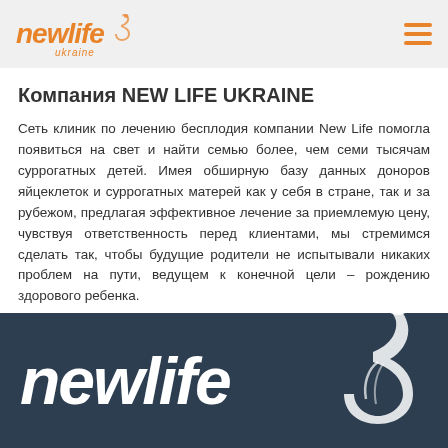new life ukraine
Компания NEW LIFE UKRAINE
Сеть клиник по лечению бесплодия компании New Life помогла появиться на свет и найти семью более, чем семи тысячам суррогатных детей. Имея обширную базу данных доноров яйцеклеток и суррогатных матерей как у себя в стране, так и за рубежом, предлагая эффективное лечение за приемлемую цену, чувствуя ответственность перед клиентами, мы стремимся сделать так, чтобы будущие родители не испытывали никаких проблем на пути, ведущем к конечной цели – рождению здорового ребенка.
Twitter
Facebook
Pinterest
[Figure (logo): New Life Ukraine logo in white on dark blue background with decorative pregnancy silhouette icon]